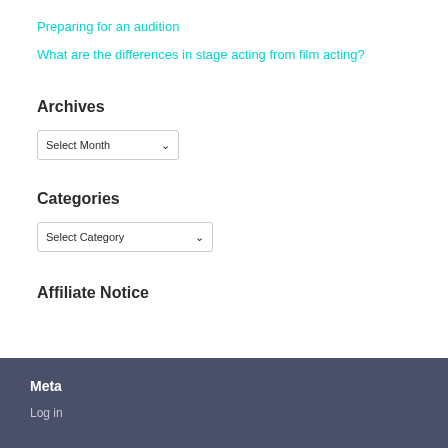Preparing for an audition
What are the differences in stage acting from film acting?
Archives
Select Month
Categories
Select Category
Affiliate Notice
Meta
Log in